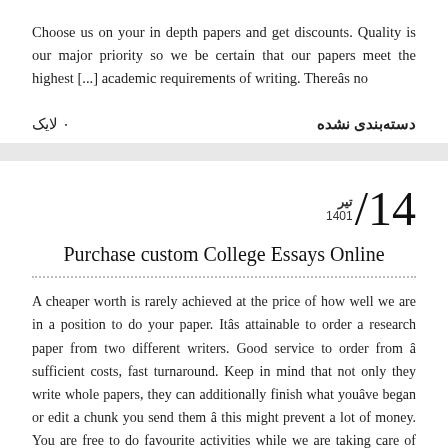Choose us on your in depth papers and get discounts. Quality is our major priority so we be certain that our papers meet the highest [...] academic requirements of writing. Thereâs no
دسته‌بندی نشده
۰ لایک
14 / تیر 1401
Purchase custom College Essays Online
A cheaper worth is rarely achieved at the price of how well we are in a position to do your paper. Itâs attainable to order a research paper from two different writers. Good service to order from â sufficient costs, fast turnaround. Keep in mind that not only they write whole papers, they can additionally finish what youâve began or edit a chunk you send them â this might prevent a lot of money. You are free to do favourite activities while we are taking care of ongoing issues. You can at all times